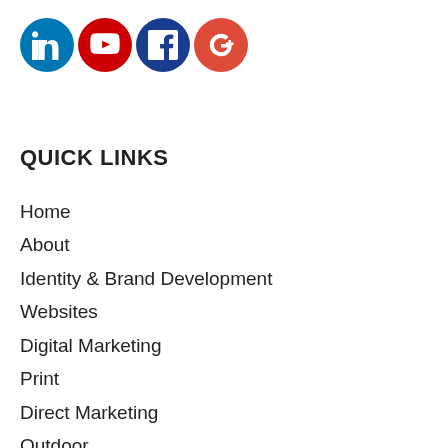[Figure (illustration): Four social media icon circles in a row: LinkedIn (blue), YouTube (red), Facebook (dark blue), Google+ (red)]
QUICK LINKS
Home
About
Identity & Brand Development
Websites
Digital Marketing
Print
Direct Marketing
Outdoor
Scriptwriting